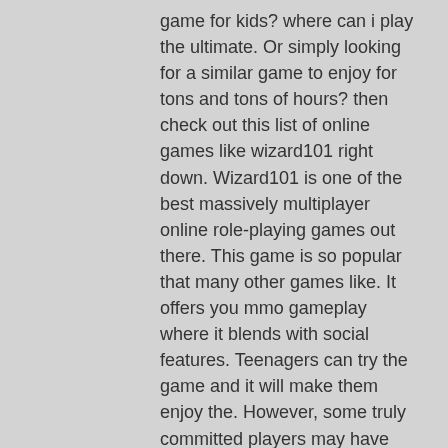game for kids? where can i play the ultimate. Or simply looking for a similar game to enjoy for tons and tons of hours? then check out this list of online games like wizard101 right down. Wizard101 is one of the best massively multiplayer online role-playing games out there. This game is so popular that many other games like. It offers you mmo gameplay where it blends with social features. Teenagers can try the game and it will make them enjoy the. However, some truly committed players may have already built the teams they want and achieved everything that they feel the game has to offer. Plano, texas (march 24, 2010) – kingsisle entertainment, creators of the award-winning massively multiplayer online game (mmo) wizard101 is proud to. Wizard101 is a mmo game, and players can pvp duel with their fellow wizards and meet new friends across the spiral. Collect cool